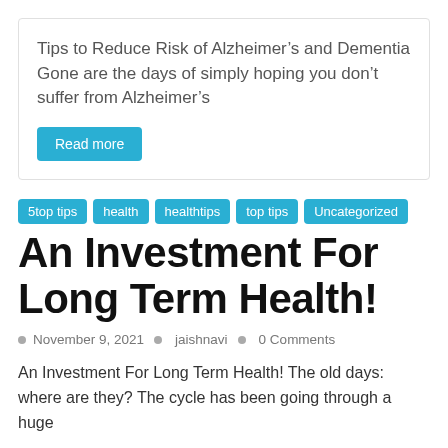Tips to Reduce Risk of Alzheimer’s and Dementia Gone are the days of simply hoping you don’t suffer from Alzheimer’s
Read more
5top tips
health
healthtips
top tips
Uncategorized
An Investment For Long Term Health!
November 9, 2021    jaishnavi    0 Comments
An Investment For Long Term Health! The old days: where are they? The cycle has been going through a huge